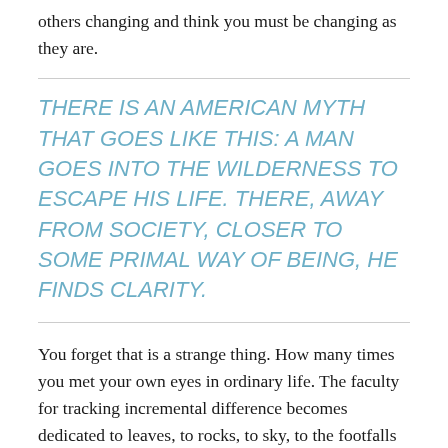others changing and think you must be changing as they are.
THERE IS AN AMERICAN MYTH THAT GOES LIKE THIS: A MAN GOES INTO THE WILDERNESS TO ESCAPE HIS LIFE. THERE, AWAY FROM SOCIETY, CLOSER TO SOME PRIMAL WAY OF BEING, HE FINDS CLARITY.
You forget that is a strange thing. How many times you met your own eyes in ordinary life. The faculty for tracking incremental difference becomes dedicated to leaves, to rocks, to sky, to the footfalls of the others.